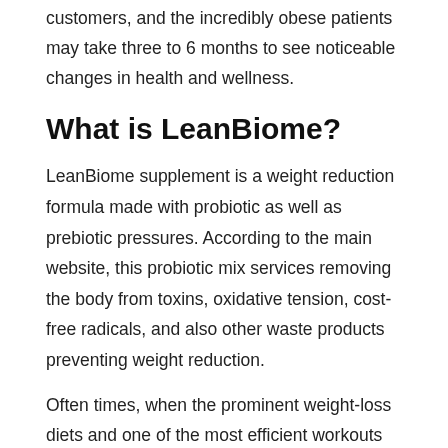weight loss within a few weeks. This time around might differ in all customers, and the incredibly obese patients may take three to 6 months to see noticeable changes in health and wellness.
What is LeanBiome?
LeanBiome supplement is a weight reduction formula made with probiotic as well as prebiotic pressures. According to the main website, this probiotic mix services removing the body from toxins, oxidative tension, cost-free radicals, and also other waste products preventing weight reduction.
Often times, when the prominent weight-loss diets and one of the most efficient workouts fail to function, the body requires a metabolic makeover. Taking a probiotic supplement on a daily basis controls food cravings, decreases mood swings, and also improves digestion and stress while altering the fat storage capability of the body.